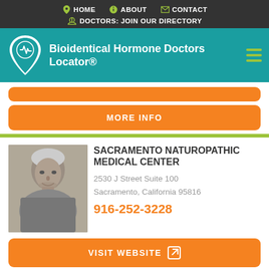HOME | ABOUT | CONTACT | DOCTORS: JOIN OUR DIRECTORY
Bioidentical Hormone Doctors Locator®
MORE INFO
SACRAMENTO NATUROPATHIC MEDICAL CENTER
2530 J Street Suite 100
Sacramento, California 95816
916-252-3228
VISIT WEBSITE
MORE INFO